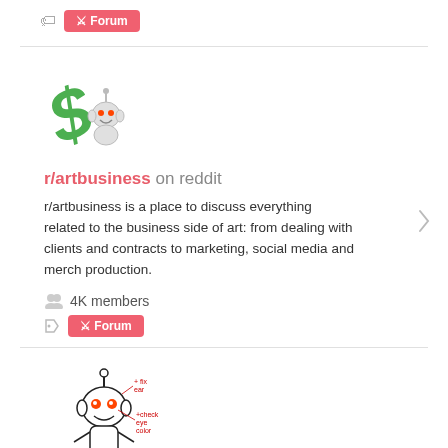Forum (tag badge)
[Figure (illustration): r/artbusiness subreddit logo: a green dollar sign with a small Reddit alien (Snoo) character]
r/artbusiness on reddit
r/artbusiness is a place to discuss everything related to the business side of art: from dealing with clients and contracts to marketing, social media and merch production.
4K members
Forum (tag badge)
[Figure (illustration): r/comic_crits subreddit logo: Reddit alien (Snoo) with red eyes and handwritten annotation text]
r/comic_crits on reddit